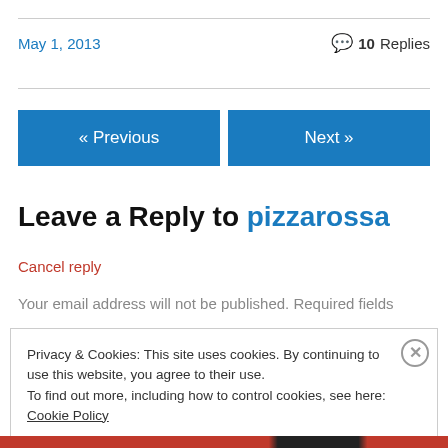May 1, 2013
💬 10 Replies
« Previous
Next »
Leave a Reply to pizzarossa
Cancel reply
Your email address will not be published. Required fields
Privacy & Cookies: This site uses cookies. By continuing to use this website, you agree to their use.
To find out more, including how to control cookies, see here: Cookie Policy
Close and accept